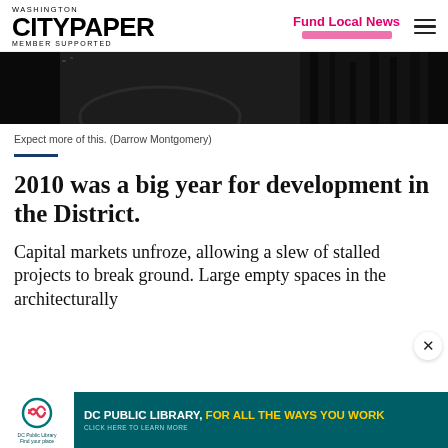Washington City Paper — MEMBER SUPPORTED | Fund Local News
[Figure (photo): Black and white photo: partial view of a building or architectural structure, dark tones]
Expect more of this. (Darrow Montgomery)
2010 was a big year for development in the District.
Capital markets unfroze, allowing a slew of stalled projects to break ground. Large empty spaces in the architecturally
[Figure (other): DC Public Library advertisement banner: 'DC PUBLIC LIBRARY, FOR ALL THE WAYS YOU WORK — CLICK HERE TO LEARN MORE' on teal/dark green background with DC Public Library logo]